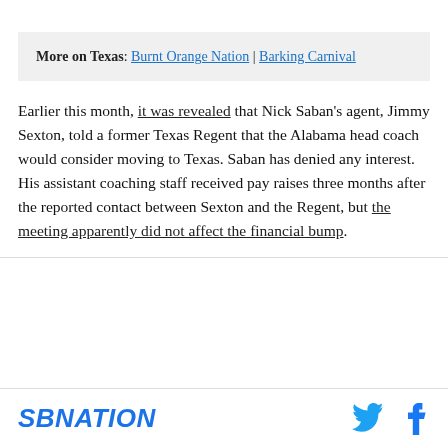More on Texas: Burnt Orange Nation | Barking Carnival
Earlier this month, it was revealed that Nick Saban's agent, Jimmy Sexton, told a former Texas Regent that the Alabama head coach would consider moving to Texas. Saban has denied any interest. His assistant coaching staff received pay raises three months after the reported contact between Sexton and the Regent, but the meeting apparently did not affect the financial bump.
SBNATION